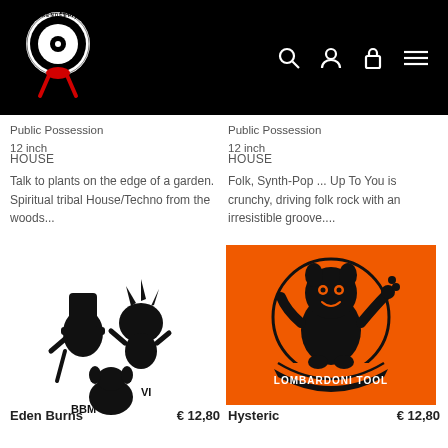[Figure (logo): Serendeepity record store logo — white vinyl record with circular text, red ribbon/legs below]
Public Possession
12 inch
Public Possession
12 inch
HOUSE
HOUSE
Talk to plants on the edge of a garden. Spiritual tribal House/Techno from the woods...
Folk, Synth-Pop ... Up To You is crunchy, driving folk rock with an irresistible groove....
[Figure (illustration): BBM VI — black silhouette illustration of three quirky characters (monster/animal figures) on white background]
[Figure (illustration): Lombardoni Tool — orange background with black cartoon monster/creature character inside a circle, text reads LOMBARDONI TOOL]
Eden Burns
€ 12,80
Hysteric
€ 12,80